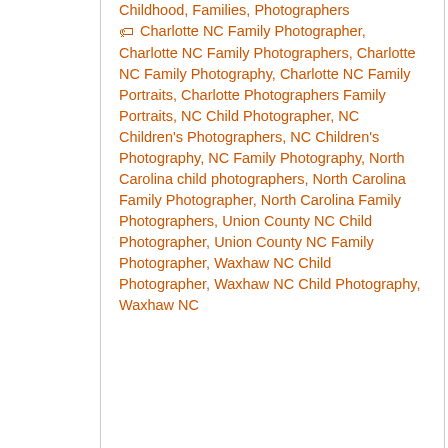Childhood, Families, Photographers 🏷 Charlotte NC Family Photographer, Charlotte NC Family Photographers, Charlotte NC Family Photography, Charlotte NC Family Portraits, Charlotte Photographers Family Portraits, NC Child Photographer, NC Children's Photographers, NC Children's Photography, NC Family Photography, North Carolina child photographers, North Carolina Family Photographer, North Carolina Family Photographers, Union County NC Child Photographer, Union County NC Family Photographer, Waxhaw NC Child Photographer, Waxhaw NC Child Photography, Waxhaw NC